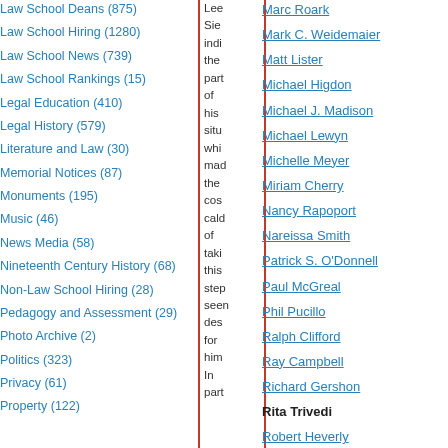Law School Deans (875)
Law School Hiring (1280)
Law School News (739)
Law School Rankings (15)
Legal Education (410)
Legal History (579)
Literature and Law (30)
Memorial Notices (87)
Monuments (195)
Music (46)
News Media (58)
Nineteenth Century History (68)
Non-Law School Hiring (28)
Pedagogy and Assessment (29)
Photo Archive (2)
Politics (323)
Privacy (61)
Property (122)
Lee
Sie
indi
the
part
of
his
situ
whi
mad
the
cos
cald
of
taki
this
step
seen
des
for
him
In
part
Marc Roark
Mark C. Weidemaier
Matt Lister
Michael Higdon
Michael J. Madison
Michael Lewyn
Michelle Meyer
Miriam Cherry
Nancy Rapoport
Nareissa Smith
Patrick S. O'Donnell
Paul McGreal
Phil Pucillo
Ralph Clifford
Ray Campbell
Richard Gershon
Rita Trivedi
Robert Heverly